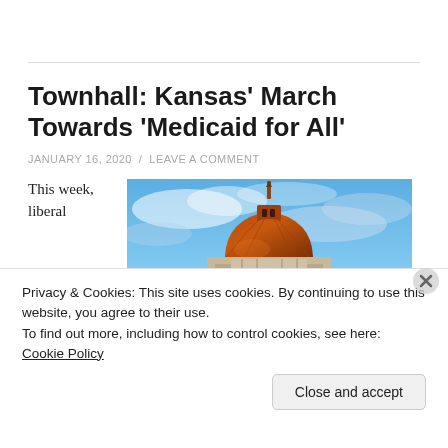Townhall: Kansas' March Towards 'Medicaid for All'
JANUARY 16, 2020 / LEAVE A COMMENT
This week, liberal
[Figure (photo): Photo of a government building dome (Kansas State Capitol) against a blue cloudy sky]
Privacy & Cookies: This site uses cookies. By continuing to use this website, you agree to their use.
To find out more, including how to control cookies, see here: Cookie Policy
Close and accept